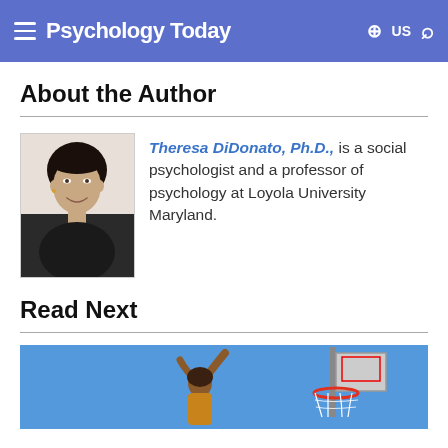Psychology Today — US
About the Author
[Figure (photo): Headshot of Theresa DiDonato, a woman with dark hair wearing a black top, smiling, against a dark background]
Theresa DiDonato, Ph.D., is a social psychologist and a professor of psychology at Loyola University Maryland.
Read Next
[Figure (photo): Basketball player dunking or reaching up toward a basketball hoop against a blue sky background]